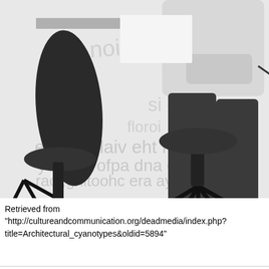[Figure (photo): Black and white photograph showing two people seated in office chairs at a table. The image is cropped to show mostly the lower body/legs area. One person on the right is holding a pen and appears to be writing. The background contains faint watermark text from a document.]
Retrieved from "http://cultureandcommunication.org/deadmedia/index.php?title=Architectural_cyanotypes&oldid=5894"